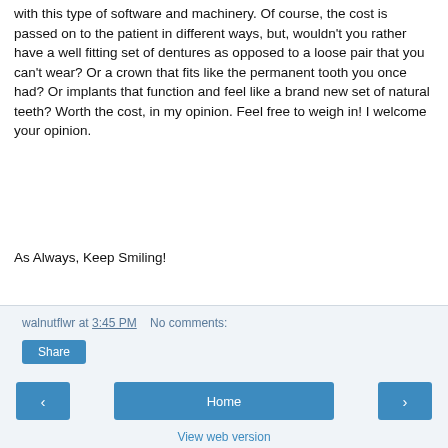with this type of software and machinery. Of course, the cost is passed on to the patient in different ways, but, wouldn't you rather have a well fitting set of dentures as opposed to a loose pair that you can't wear?  Or a crown that fits like the permanent tooth you once had? Or implants that function and feel like a brand new set of natural teeth?  Worth the cost, in my opinion.  Feel free to weigh in! I welcome your opinion.
As Always, Keep Smiling!
walnutflwr at 3:45 PM   No comments:   Share   Home   View web version